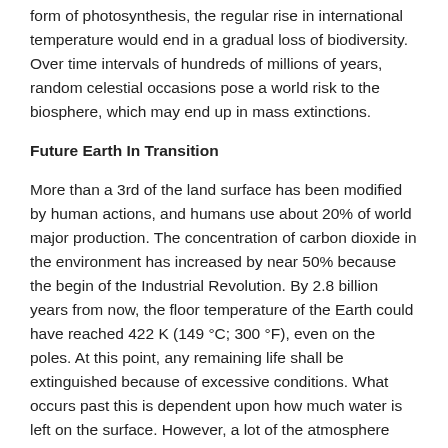stay in the atmosphere by way of the persistence of some form of photosynthesis, the regular rise in international temperature would end in a gradual loss of biodiversity. Over time intervals of hundreds of millions of years, random celestial occasions pose a world risk to the biosphere, which may end up in mass extinctions.
Future Earth In Transition
More than a 3rd of the land surface has been modified by human actions, and humans use about 20% of world major production. The concentration of carbon dioxide in the environment has increased by near 50% because the begin of the Industrial Revolution. By 2.8 billion years from now, the floor temperature of the Earth could have reached 422 K (149 °C; 300 °F), even on the poles. At this point, any remaining life shall be extinguished because of excessive conditions. What occurs past this is dependent upon how much water is left on the surface. However, a lot of the atmosphere might be retained till the Sun has entered the pink giant stage